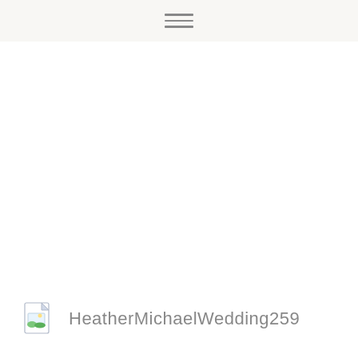[Figure (other): File thumbnail icon with image placeholder (small document icon with green/blue image symbol) next to filename label HeatherMichaelWedding259]